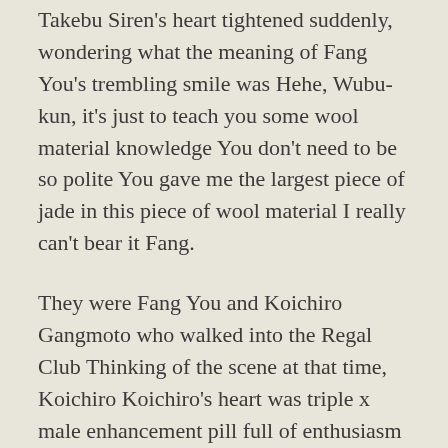Takebu Siren's heart tightened suddenly, wondering what the meaning of Fang You's trembling smile was Hehe, Wubu-kun, it's just to teach you some wool material knowledge You don't need to be so polite You gave me the largest piece of jade in this piece of wool material I really can't bear it Fang.
They were Fang You and Koichiro Gangmoto who walked into the Regal Club Thinking of the scene at that time, Koichiro Koichiro's heart was triple x male enhancement pill full of enthusiasm Blood boils As soon as he entered the rich club, Fang You told the staff that he was looking for the boss here In the end, the boss didn't come, but two or three arrogant gangsters came.
He was absolutely sure that the jewelry and jade that Fang You was going saags male enhancement pills Consumer Digest Male Enhancement how to produce